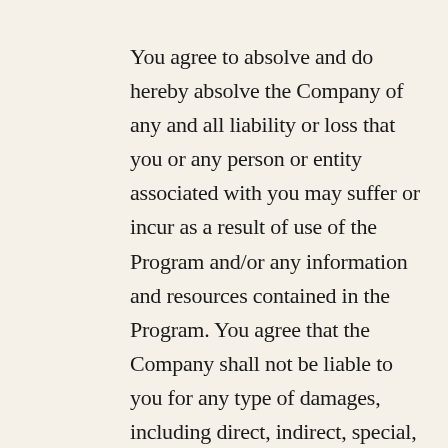You agree to absolve and do hereby absolve the Company of any and all liability or loss that you or any person or entity associated with you may suffer or incur as a result of use of the Program and/or any information and resources contained in the Program. You agree that the Company shall not be liable to you for any type of damages, including direct, indirect, special, incidental, equitable, or consequential loss or damages for use of the Program.
The information, software, products, and service included or available through the